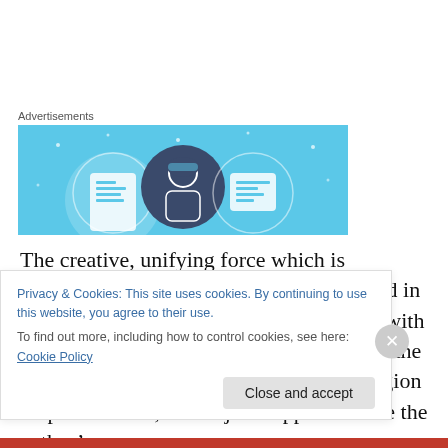Advertisements
[Figure (illustration): Advertisement banner with light blue background showing three circular icons with document/person graphics]
The creative, unifying force which is personified as “God” is too often imagined in biblical accounts to be mainly concerned with the dilemma of only one representation of the human species who dwelt in one small region on planet Earth, which just happened to be the author’s area
Privacy & Cookies: This site uses cookies. By continuing to use this website, you agree to their use.
To find out more, including how to control cookies, see here: Cookie Policy
Close and accept